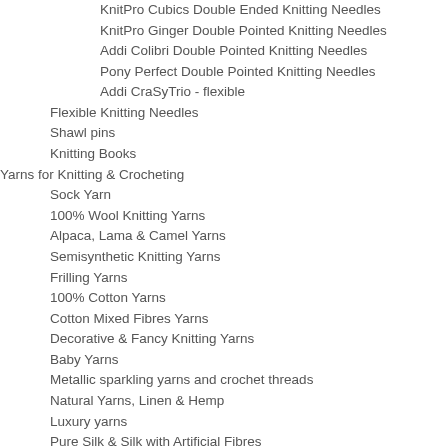KnitPro Cubics Double Ended Knitting Needles
KnitPro Ginger Double Pointed Knitting Needles
Addi Colibri Double Pointed Knitting Needles
Pony Perfect Double Pointed Knitting Needles
Addi CraSyTrio - flexible
Flexible Knitting Needles
Shawl pins
Knitting Books
Yarns for Knitting & Crocheting
Sock Yarn
100% Wool Knitting Yarns
Alpaca, Lama & Camel Yarns
Semisynthetic Knitting Yarns
Frilling Yarns
100% Cotton Yarns
Cotton Mixed Fibres Yarns
Decorative & Fancy Knitting Yarns
Baby Yarns
Metallic sparkling yarns and crochet threads
Natural Yarns, Linen & Hemp
Luxury yarns
Pure Silk & Silk with Artificial Fibres
Linen, Flax & Linen with Arificial Fibres
Mohair & Angora Yarns
Paper Yarns, Raffia
Eco Yarn, Organic Yarn
Decorative glossy threads
KnitPro Products